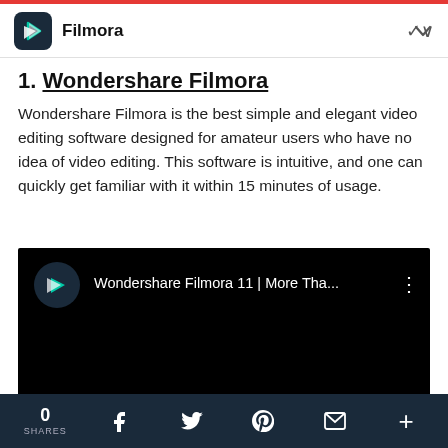Filmora
1. Wondershare Filmora
Wondershare Filmora is the best simple and elegant video editing software designed for amateur users who have no idea of video editing. This software is intuitive, and one can quickly get familiar with it within 15 minutes of usage.
[Figure (screenshot): Embedded video player with dark background showing Wondershare Filmora logo and title 'Wondershare Filmora 11 | More Tha...']
0 SHARES | Facebook | Twitter | Pinterest | Email | +